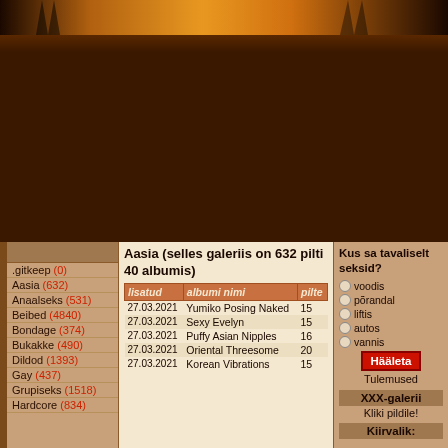[Figure (photo): Website header banner with dark brown and orange gradient, stylized image of trees/silhouettes against orange sky]
[Figure (photo): Large dark brown advertisement area]
.gitkeep (0)
Aasia (632)
Anaalseks (531)
Beibed (4840)
Bondage (374)
Bukakke (490)
Dildod (1393)
Gay (437)
Grupiseks (1518)
Hardcore (834)
Aasia (selles galeriis on 632 pilti 40 albumis)
| lisatud | albumi nimi | pilte |
| --- | --- | --- |
| 27.03.2021 | Yumiko Posing Naked | 15 |
| 27.03.2021 | Sexy Evelyn | 15 |
| 27.03.2021 | Puffy Asian Nipples | 16 |
| 27.03.2021 | Oriental Threesome | 20 |
| 27.03.2021 | Korean Vibrations | 15 |
Kus sa tavaliselt seksid?
voodis
põrandal
liftis
autos
vannis
Hääleta
Tulemused
XXX-galerii
Kliki pildile!
Kiirvalik: